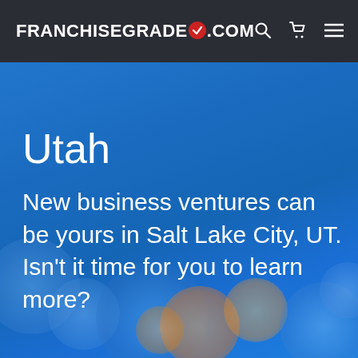FRANCHISEGRADE✓.COM
Utah
New business ventures can be yours in Salt Lake City, UT. Isn't it time for you to learn more?